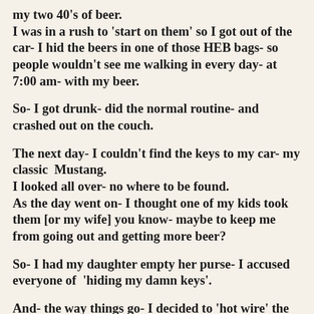my two 40’s of beer.
I was in a rush to ‘start on them’ so I got out of the car- I hid the beers in one of those HEB bags- so people wouldn’t see me walking in every day- at 7:00 am- with my beer.
So- I got drunk- did the normal routine- and crashed out on the couch.
The next day- I couldn’t find the keys to my car- my classic  Mustang.
I looked all over- no where to be found.
As the day went on- I thought one of my kids took them [or my wife] you know- maybe to keep me from going out and getting more beer?
So- I had my daughter empty her purse- I accused everyone of  ‘hiding my damn keys’.
And- the way things go- I decided to ‘hot wire’ the car